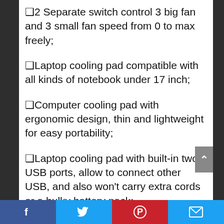❑2 Separate switch control 3 big fan and 3 small fan speed from 0 to max freely;
❑Laptop cooling pad compatible with all kinds of notebook under 17 inch;
❑Computer cooling pad with ergonomic design, thin and lightweight for easy portability;
❑Laptop cooling pad with built-in two USB ports, allow to connect other USB, and also won't carry extra cords or a bulky battery pack;